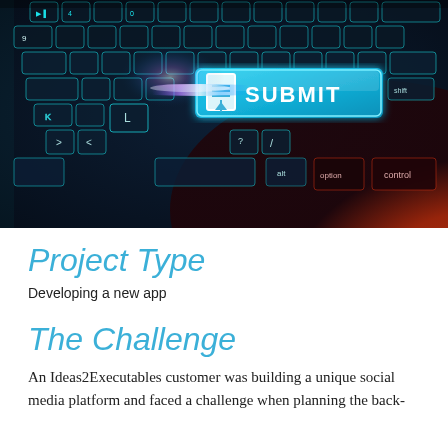[Figure (photo): Close-up photo of a dark keyboard with glowing teal/blue keys, featuring a highlighted 'SUBMIT' key in cyan/teal with a document/upload icon, and orange/red gradient on the lower right keys (alt, option, control).]
Project Type
Developing a new app
The Challenge
An Ideas2Executables customer was building a unique social media platform and faced a challenge when planning the back-